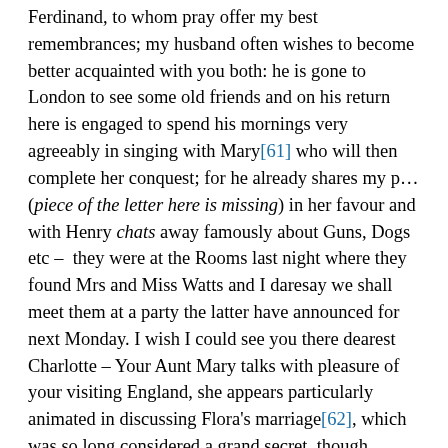Ferdinand, to whom pray offer my best remembrances; my husband often wishes to become better acquainted with you both: he is gone to London to see some old friends and on his return here is engaged to spend his mornings very agreeably in singing with Mary[61] who will then complete her conquest; for he already shares my p...(piece of the letter here is missing) in her favour and with Henry chats away famously about Guns, Dogs etc – they were at the Rooms last night where they found Mrs and Miss Watts and I daresay we shall meet them at a party the latter have announced for next Monday. I wish I could see you there dearest Charlotte – Your Aunt Mary talks with pleasure of your visiting England, she appears particularly animated in discussing Flora's marriage[62], which was so long considered a grand secret, though known I am told all over Bath: you would enjoy hearing Mrs Shaw's account of all the goings doings they had here and of the lively part Miss Jackson performed on the occasion. Flora wrote to Mrs S on the third day after her marriage from Windsor, and said though an early day she